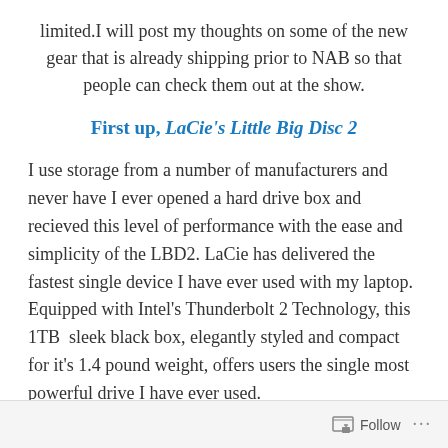limited.I will post my thoughts on some of the new gear that is already shipping prior to NAB so that people can check them out at the show.
First up, LaCie's Little Big Disc 2
I use storage from a number of manufacturers and never have I ever opened a hard drive box and recieved this level of performance with the ease and simplicity of the LBD2. LaCie has delivered the fastest single device I have ever used with my laptop.  Equipped with Intel's Thunderbolt 2 Technology, this 1TB  sleek black box, elegantly styled and compact for it's 1.4 pound weight, offers users the single most powerful drive I have ever used.
Follow ...